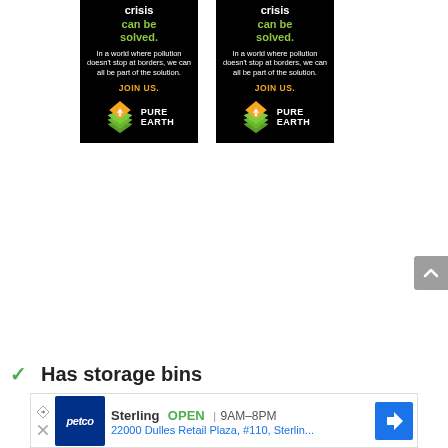[Figure (illustration): Pure Earth advertisement banner (left): dark background with white bold text 'crisis', green bold text 'can be solved.', white body text 'In a world where pollution doesn't stop at borders, we can all be part of the solution.', orange bold text 'JOIN US.', and Pure Earth logo with diamond icon at bottom.]
[Figure (illustration): Pure Earth advertisement banner (right): identical to left banner — dark background with white bold text 'crisis', green bold text 'can be solved.', white body text 'In a world where pollution doesn't stop at borders, we can all be part of the solution.', orange bold text 'JOIN US.', and Pure Earth logo with diamond icon at bottom.]
[Figure (other): Gray back-to-top button with white up arrow chevron, positioned at right edge of page.]
Has storage bins
[Figure (other): Petco advertisement: Petco logo (blue background), store name 'Sterling', 'OPEN' label, hours '9AM–8PM', address '22000 Dulles Retail Plaza, #110, Sterling...', and blue navigation arrow icon.]